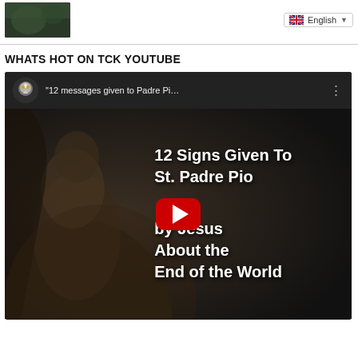[Figure (screenshot): Top thumbnail image strip showing dark foliage/nature image with English language selector dropdown on the right]
WHATS HOT ON TCK YOUTUBE
[Figure (screenshot): YouTube embedded video player showing '12 messages given to Padre Pi...' with overlay text '12 Signs Given To St. Padre Pio by Jesus About the End of the World' and a red play button in center. Channel icon shows eagle. Dark background with a figure of a robed man.]